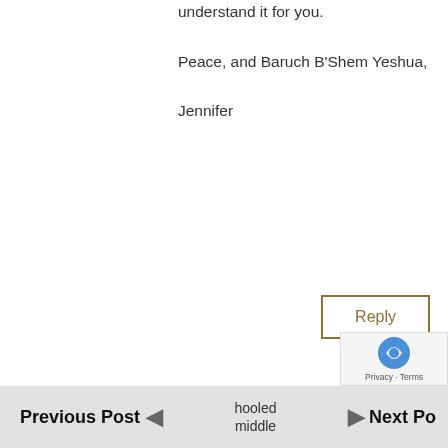understand it for you.

Peace, and Baruch B'Shem Yeshua,

Jennifer
Reply
Hannah Leverenz on November 11, 2015 at 10:56 am
Hi All,
My name is Hannah Leverenz. I am currently a student at New York University, looking to combine my passion for reporting/journalism, literature, and human studies into a definitive major. Growing up, [homeschooled] middle
Previous Post   Next Post